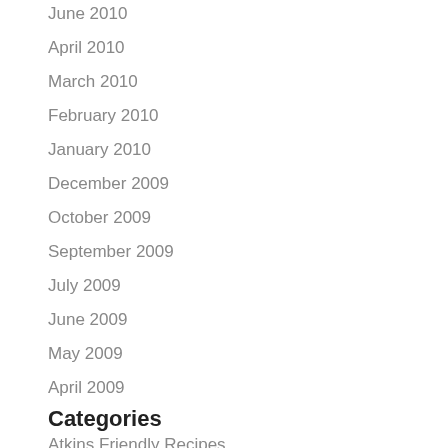June 2010
April 2010
March 2010
February 2010
January 2010
December 2009
October 2009
September 2009
July 2009
June 2009
May 2009
April 2009
Categories
Atkins Friendly Recipes